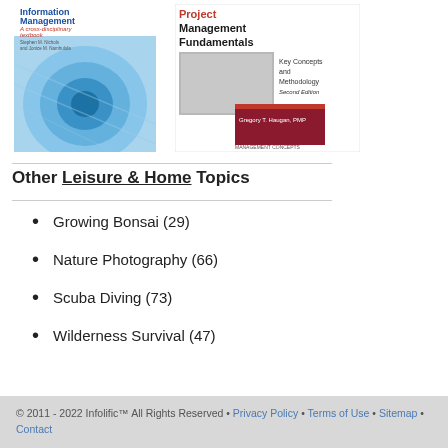[Figure (illustration): Book cover: Information Management - A cross-disciplinary textbook, by Stephen M. Nichols and Jonice M. Namhulula, with a blue circular swirl design]
[Figure (illustration): Book cover: Project Management Fundamentals - Key Concepts and Methodology, Second Edition, by Gregory T. Haugan, PMP, published by Management Concepts, with a grey and dark red design]
Other Leisure & Home Topics
Growing Bonsai (29)
Nature Photography (66)
Scuba Diving (73)
Wilderness Survival (47)
© 2011 - 2022 Infolific™ All Rights Reserved • Privacy Policy • Terms of Use • Sitemap • Contact